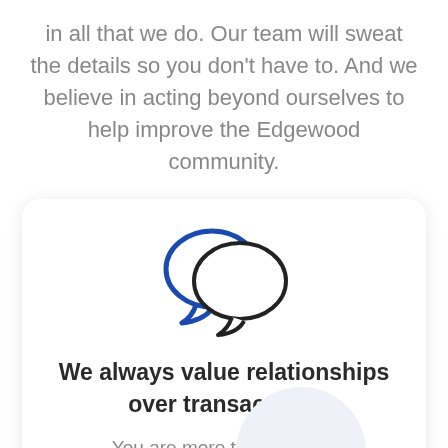in all that we do. Our team will sweat the details so you don't have to. And we believe in acting beyond ourselves to help improve the Edgewood community.
[Figure (illustration): Two overlapping speech bubble icons — one blue (back, left) and one black outline (front, right), representing communication and relationships.]
We always value relationships over transactions
You are more than a numb... a deal to get done. We look